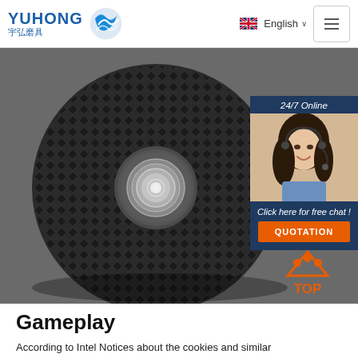YUHONG 宇弘磨具 | English
[Figure (photo): Close-up photo of a black grinding/abrasive disc with a metallic center hole arbor, showing diamond/abrasive pattern texture on the surface. Overlaid with a chat widget showing a female customer service representative wearing a headset, with '24/7 Online' text, 'Click here for free chat!' and a QUOTATION button. A 'TOP' navigation button appears at bottom right of the hero image.]
Gameplay
According to Intel Notices about the cookies and similar